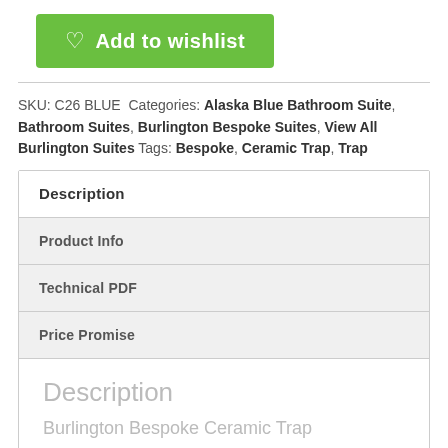[Figure (other): Green 'Add to wishlist' button with heart icon]
SKU: C26 BLUE Categories: Alaska Blue Bathroom Suite, Bathroom Suites, Burlington Bespoke Suites, View All Burlington Suites Tags: Bespoke, Ceramic Trap, Trap
| Description |
| Product Info |
| Technical PDF |
| Price Promise |
| Description
Burlington Bespoke Ceramic Trap |